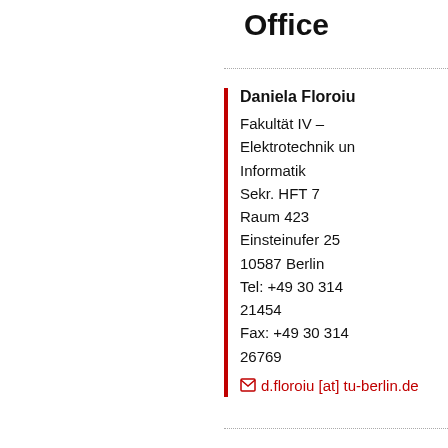Office
Daniela Floroiu
Fakultät IV – Elektrotechnik und Informatik
Sekr. HFT 7
Raum 423
Einsteinufer 25
10587 Berlin
Tel: +49 30 314 21454
Fax: +49 30 314 26769
d.floroiu [at] tu-berlin.de